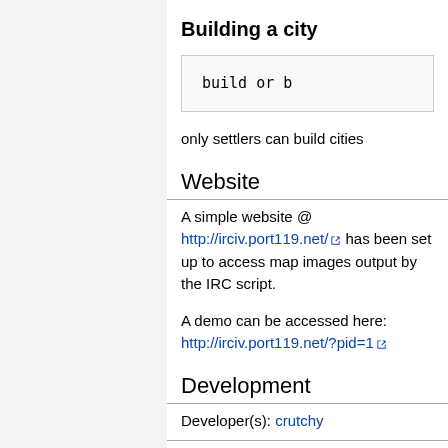Building a city
build or b
only settlers can build cities
Website
A simple website @ http://irciv.port119.net/ has been set up to access map images output by the IRC script.
A demo can be accessed here: http://irciv.port119.net/?pid=1
Development
Developer(s): crutchy
Development journal entries